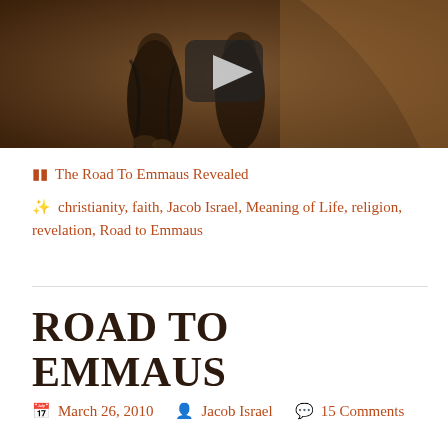[Figure (screenshot): Video thumbnail showing two figures in dark robes, with a play button overlay. Background is brownish/warm toned painting.]
The Road To Emmaus Revealed
christianity, faith, Jacob Israel, Meaning of Life, religion, revelation, Road to Emmaus
ROAD TO EMMAUS
March 26, 2010   Jacob Israel   15 Comments